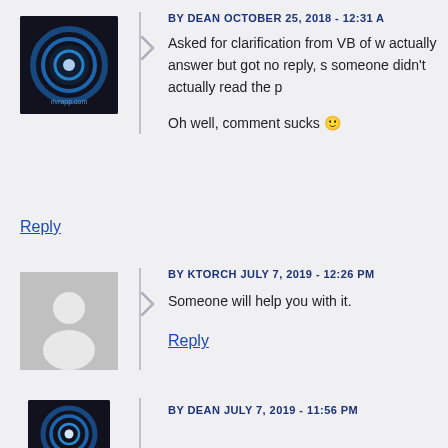BY DEAN OCTOBER 25, 2018 - 12:31 A
Asked for clarification from VB of w actually answer but got no reply, s someone didn't actually read the p
Oh well, comment sucks 🙂
Reply
BY KTORCH JULY 7, 2019 - 12:26 PM
Someone will help you with it.
Reply
BY DEAN JULY 7, 2019 - 11:56 PM